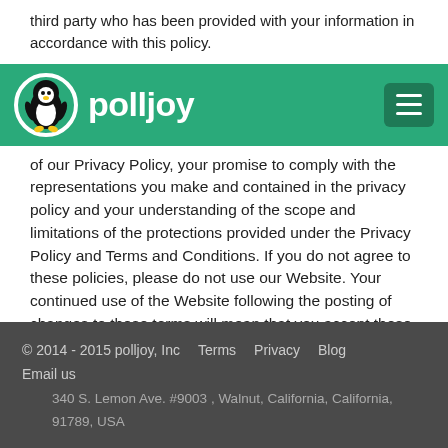third party who has been provided with your information in accordance with this policy.
[Figure (logo): Polljoy logo with penguin mascot on green header bar with hamburger menu button]
of our Privacy Policy, your promise to comply with the representations you make and contained in the privacy policy and your understanding of the scope and limitations of the protections provided under the Privacy Policy and Terms and Conditions. If you do not agree to these policies, please do not use our Website. Your continued use of the Website following the posting of changes to these terms will mean that you accept those changes.
© 2014 - 2015 polljoy, Inc   Terms   Privacy   Blog   Email us   340 S. Lemon Ave. #9003 , Walnut, California, California, 91789, USA